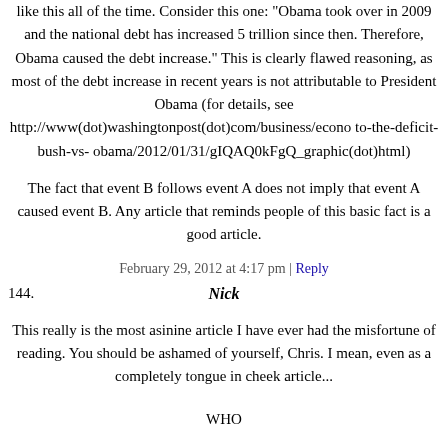like this all of the time. Consider this one: "Obama took over in 2009 and the national debt has increased 5 trillion since then. Therefore, Obama caused the debt increase." This is clearly flawed reasoning, as most of the debt increase in recent years is not attributable to President Obama (for details, see http://www(dot)washingtonpost(dot)com/business/economy/who-added-more-to-the-deficit-bush-vs-obama/2012/01/31/gIQAQ0kFgQ_graphic(dot)html)
The fact that event B follows event A does not imply that event A caused event B. Any article that reminds people of this basic fact is a good article.
February 29, 2012 at 4:17 pm | Reply
144. Nick
This really is the most asinine article I have ever had the misfortune of reading. You should be ashamed of yourself, Chris. I mean, even as a completely tongue in cheek article...
WHO
CARES
February 29, 2012 at 3:25 pm | Reply